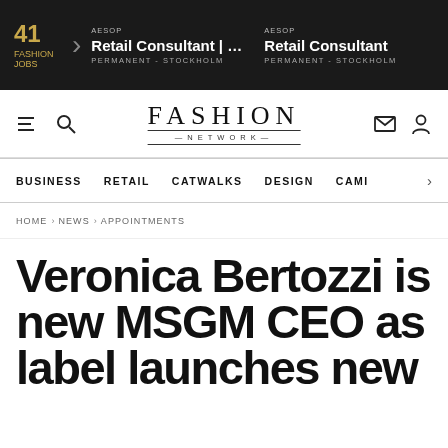41 FASHION JOBS | AESOP Retail Consultant | Pa... PERMANENT - STOCKHOLM | AESOP Retail Consultant PERMANENT - STOCKHOLM
[Figure (logo): Fashion Network logo with navigation icons (hamburger menu, search, envelope, person)]
BUSINESS | RETAIL | CATWALKS | DESIGN | CAMI >
HOME > NEWS > APPOINTMENTS
Veronica Bertozzi is new MSGM CEO as label launches new